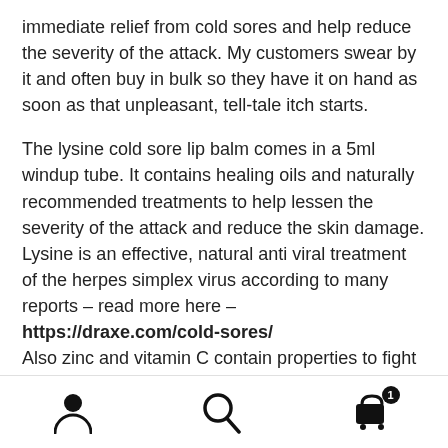immediate relief from cold sores and help reduce the severity of the attack. My customers swear by it and often buy in bulk so they have it on hand as soon as that unpleasant, tell-tale itch starts.
The lysine cold sore lip balm comes in a 5ml windup tube. It contains healing oils and naturally recommended treatments to help lessen the severity of the attack and reduce the skin damage. Lysine is an effective, natural anti viral treatment of the herpes simplex virus according to many reports – read more here – https://draxe.com/cold-sores/ Also zinc and vitamin C contain properties to fight the virus and lemon balm is reported to be effective in treating cold sores. Peppermint oil is cooling and clove bud oil has
[person icon] [search icon] [cart icon with badge 1]